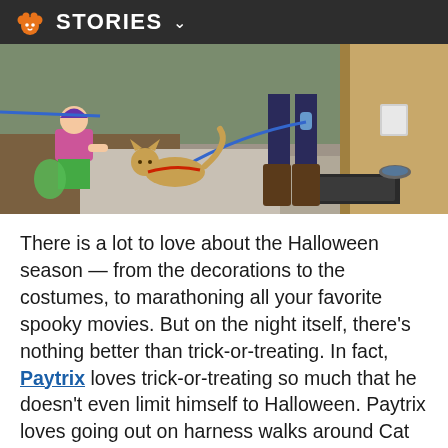STORIES
[Figure (photo): A small tan cat on a leash/harness being walked by a person in boots near a doorway, with a child in green pants crouching nearby.]
There is a lot to love about the Halloween season — from the decorations to the costumes, to marathoning all your favorite spooky movies. But on the night itself, there’s nothing better than trick-or-treating. In fact, Paytrix loves trick-or-treating so much that he doesn’t even limit himself to Halloween. Paytrix loves going out on harness walks around Cat World. He goes door to door and sits outside waiting for someone to bring out a tasty treat,